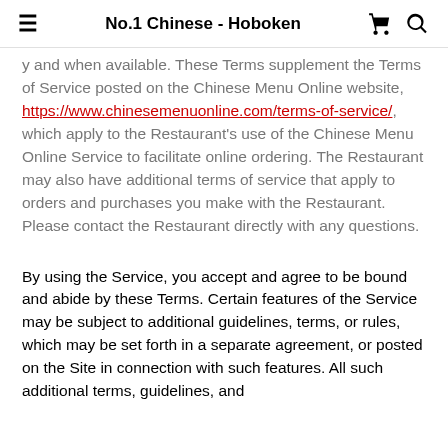No.1 Chinese - Hoboken
y and when available. These Terms supplement the Terms of Service posted on the Chinese Menu Online website, https://www.chinesemenuonline.com/terms-of-service/, which apply to the Restaurant's use of the Chinese Menu Online Service to facilitate online ordering. The Restaurant may also have additional terms of service that apply to orders and purchases you make with the Restaurant. Please contact the Restaurant directly with any questions.
By using the Service, you accept and agree to be bound and abide by these Terms. Certain features of the Service may be subject to additional guidelines, terms, or rules, which may be set forth in a separate agreement, or posted on the Site in connection with such features. All such additional terms, guidelines, and